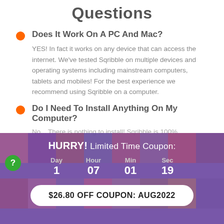Questions
Does It Work On A PC And Mac?
YES! In fact it works on any device that can access the internet. We've tested Sqribble on multiple devices and operating systems including mainstream computers, tablets and mobiles! For the best experience we recommend using Sqribble on a computer.
Do I Need To Install Anything On My Computer?
No... There is nothing to install! Sqribble is 100%
HURRY! Limited Time Coupon: Day 1  Hour 07  Min 01  Sec 19
$26.80 OFF COUPON: AUG2022